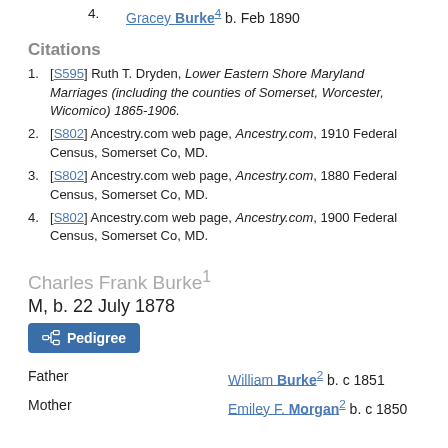4. Gracey Burke4 b. Feb 1890
Citations
1. [S595] Ruth T. Dryden, Lower Eastern Shore Maryland Marriages (including the counties of Somerset, Worcester, Wicomico) 1865-1906.
2. [S802] Ancestry.com web page, Ancestry.com, 1910 Federal Census, Somerset Co, MD.
3. [S802] Ancestry.com web page, Ancestry.com, 1880 Federal Census, Somerset Co, MD.
4. [S802] Ancestry.com web page, Ancestry.com, 1900 Federal Census, Somerset Co, MD.
Charles Frank Burke1
M, b. 22 July 1878
Pedigree
Father   William Burke2 b. c 1851
Mother   Emiley F. Morgan2 b. c 1850